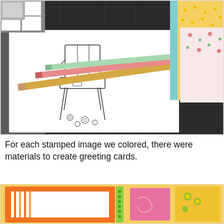[Figure (photo): Craft table with colored pencils (pink, mint green, peach/gold) resting on white paper stamped with a line-drawing of a chair with flowers. Background shows a black cutting mat with grid lines, and decorative patterned papers (yellow polka dot, floral, teal) stacked in the upper right. Several completed greeting cards with bird/flower stamps are visible in the upper left.]
For each stamped image we colored, there were materials to create greeting cards.
[Figure (photo): Partially visible greeting cards with colorful patterned borders — orange and white stripes, green dots, yellow background with floral/swirl patterns and sunflower stamps. Items appear to be craft card-making supplies and finished cards.]